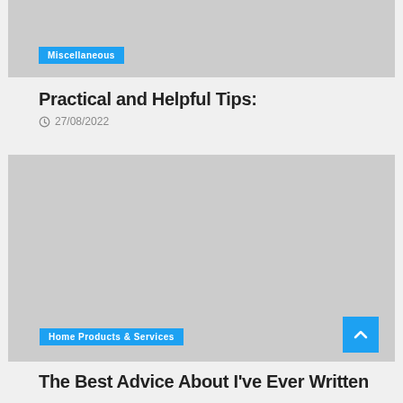[Figure (photo): Gray placeholder image at top with Miscellaneous category badge]
Miscellaneous
Practical and Helpful Tips:
27/08/2022
[Figure (photo): Large gray placeholder image with Home Products & Services category badge and scroll-to-top button]
Home Products & Services
The Best Advice About I've Ever Written